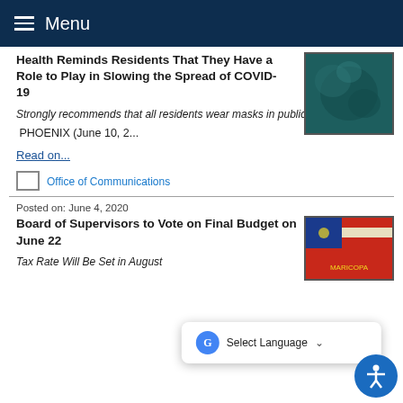Menu
Health Reminds Residents That They Have a Role to Play in Slowing the Spread of COVID-19
Strongly recommends that all residents wear masks in public settings
PHOENIX (June 10, 2...
Read on...
Office of Communications
Posted on: June 4, 2020
Board of Supervisors to Vote on Final Budget on June 22
Tax Rate Will Be Set in August